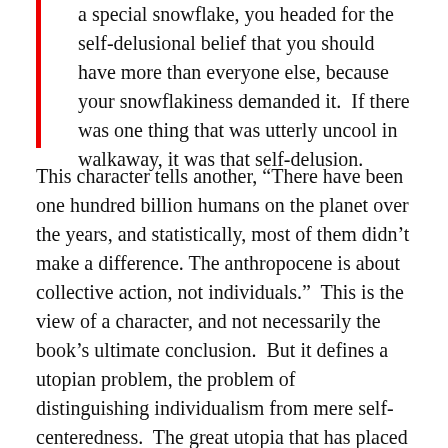a special snowflake, you headed for the self-delusional belief that you should have more than everyone else, because your snowflakiness demanded it.  If there was one thing that was utterly uncool in walkaway, it was that self-delusion.
This character tells another, “There have been one hundred billion humans on the planet over the years, and statistically, most of them didn’t make a difference. The anthropocene is about collective action, not individuals.”  This is the view of a character, and not necessarily the book’s ultimate conclusion.  But it defines a utopian problem, the problem of distinguishing individualism from mere self-centeredness.  The great utopia that has placed this problem at the center of its discussion is Ursula LeGuin’s The Dispossessed, whose protagonist, Shevek, really is a special snowflake.  Shevek is not just brilliant;